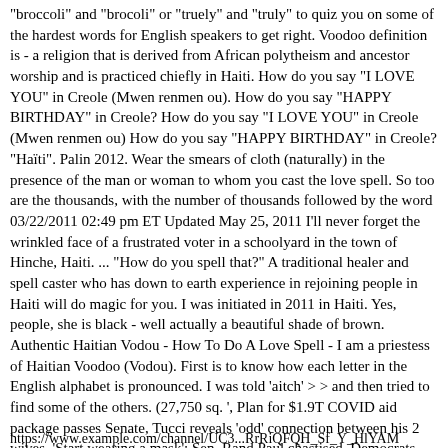"broccoli" and "brocoli" or "truely" and "truly" to quiz you on some of the hardest words for English speakers to get right. Voodoo definition is - a religion that is derived from African polytheism and ancestor worship and is practiced chiefly in Haiti. How do you say "I LOVE YOU" in Creole (Mwen renmen ou). How do you say "HAPPY BIRTHDAY" in Creole? How do you say "I LOVE YOU" in Creole (Mwen renmen ou) How do you say "HAPPY BIRTHDAY" in Creole? "Haïti". Palin 2012. Wear the smears of cloth (naturally) in the presence of the man or woman to whom you cast the love spell. So too are the thousands, with the number of thousands followed by the word 03/22/2011 02:49 pm ET Updated May 25, 2011 I'll never forget the wrinkled face of a frustrated voter in a schoolyard in the town of Hinche, Haiti. ... "How do you spell that?" A traditional healer and spell caster who has down to earth experience in rejoining people in Haiti will do magic for you. I was initiated in 2011 in Haiti. Yes, people, she is black - well actually a beautiful shade of brown. Authentic Haitian Vodou - How To Do A Love Spell - I am a priestess of Haitian Voodoo (Vodou). First is to know how each letter in the English alphabet is pronounced. I was told 'aitch' > > and then tried to find some of the others. (27,750 sq. ', Plan for $1.9T COVID aid package passes Senate, Tucci reveals 'odd' connection between his 2 wives, 'Start wearing a mask': Sen. Rand Paul chastised, Democrats double down on student debt cancellation, Former WWE wrestler comes out as transgender, All-Star Game flies in face of NBA player safety, Rep. Katie Porter comes to AOC's defense against GOP. Casting your own magic spells takes skill and patience and isn't recommended to do it alone in most cases. GO HERE FOR LOVE SPELLS:
https://www.example.com/channel/UC3...RrRiQFQH_Sf_Y_HlYAM